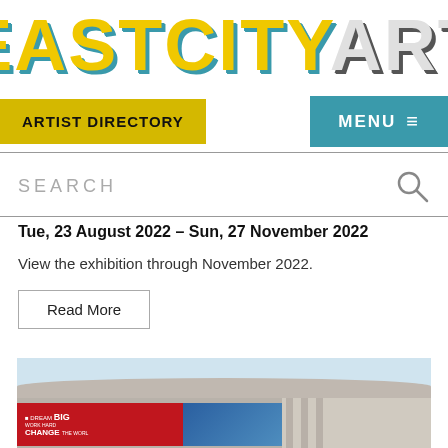EASTCITYART
ARTIST DIRECTORY
MENU
SEARCH
Tue, 23 August 2022 - Sun, 27 November 2022
View the exhibition through November 2022.
Read More
[Figure (photo): Exterior photograph of a building with a curved roof, showing a promotional banner reading DREAM BIG WORK HARD CHANGE THE WORLD and a blue geometric graphic panel, with concrete columns]